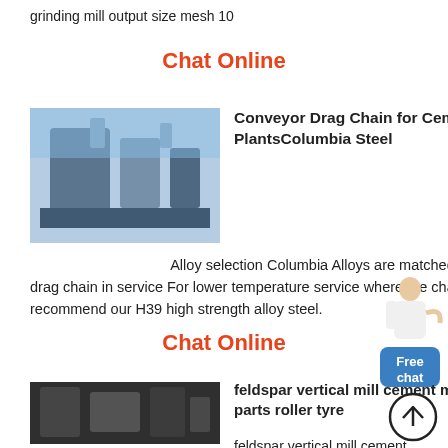grinding mill output size mesh 10
Chat Online
[Figure (photo): Industrial conveyor drag chain equipment at a cement plant, showing large metal machinery against a blue sky background]
Conveyor Drag Chain for Cement PlantsColumbia Steel
Alloy selection Columbia Alloys are matched to the temperature reached by the drag chain in service For lower temperature service where the chain is heated to no more than 550 F we recommend our H39 high strength alloy steel.
[Figure (illustration): Free chat widget with person illustration and blue button labeled Free chat]
Chat Online
[Figure (photo): Industrial feldspar vertical mill equipment showing large mechanical parts]
feldspar vertical mill cement mill wear parts roller tyre
feldspar vertical mill cement
[Figure (illustration): Back to top circular arrow icon button]